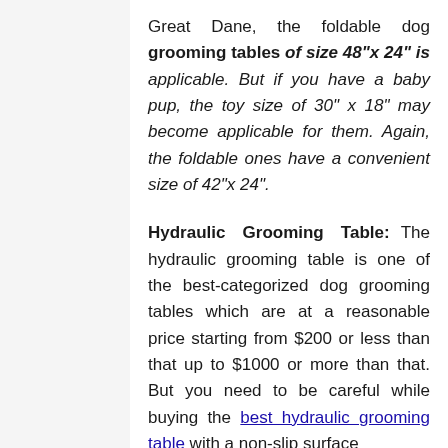Great Dane, the foldable dog grooming tables of size 48"x 24" is applicable. But if you have a baby pup, the toy size of 30" x 18" may become applicable for them. Again, the foldable ones have a convenient size of 42"x 24".
Hydraulic Grooming Table: The hydraulic grooming table is one of the best-categorized dog grooming tables which are at a reasonable price starting from $200 or less than that up to $1000 or more than that. But you need to be careful while buying the best hydraulic grooming table with a non-slip surface